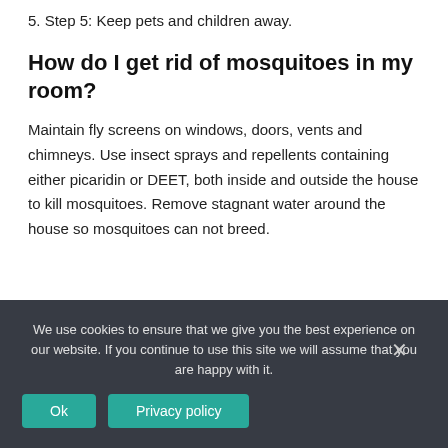5. Step 5: Keep pets and children away.
How do I get rid of mosquitoes in my room?
Maintain fly screens on windows, doors, vents and chimneys. Use insect sprays and repellents containing either picaridin or DEET, both inside and outside the house to kill mosquitoes. Remove stagnant water around the house so mosquitoes can not breed.
We use cookies to ensure that we give you the best experience on our website. If you continue to use this site we will assume that you are happy with it.